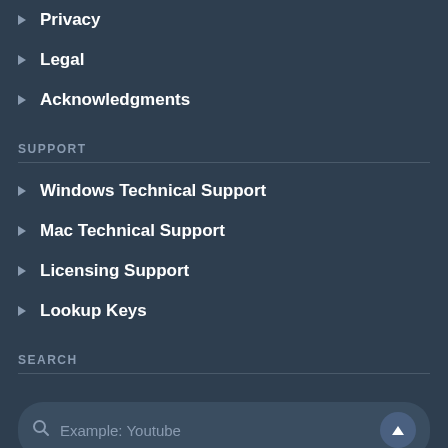Privacy
Legal
Acknowledgments
SUPPORT
Windows Technical Support
Mac Technical Support
Licensing Support
Lookup Keys
SEARCH
Example: Youtube
Enter the site name to find the app collection...